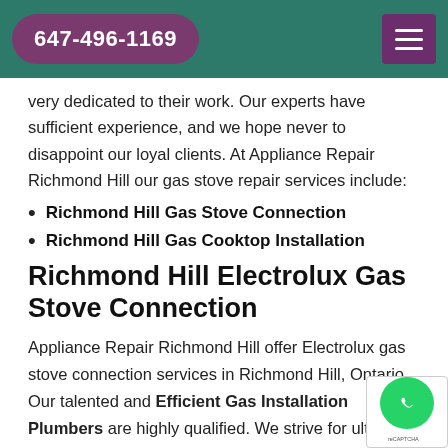647-496-1169
very dedicated to their work. Our experts have sufficient experience, and we hope never to disappoint our loyal clients. At Appliance Repair Richmond Hill our gas stove repair services include:
Richmond Hill Gas Stove Connection
Richmond Hill Gas Cooktop Installation
Richmond Hill Electrolux Gas Stove Connection
Appliance Repair Richmond Hill offer Electrolux gas stove connection services in Richmond Hill, Ontario. Our talented and Efficient Gas Installation Plumbers are highly qualified. We strive for ultimate customer satisfaction. We have types of